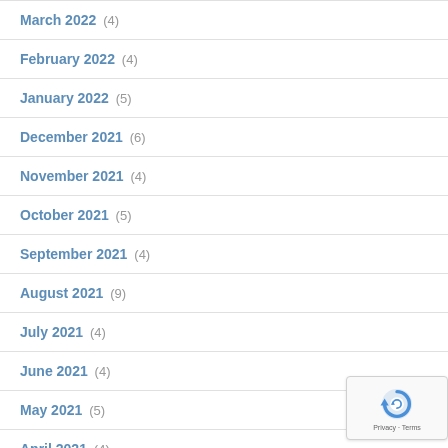March 2022 (4)
February 2022 (4)
January 2022 (5)
December 2021 (6)
November 2021 (4)
October 2021 (5)
September 2021 (4)
August 2021 (9)
July 2021 (4)
June 2021 (4)
May 2021 (5)
April 2021 (4)